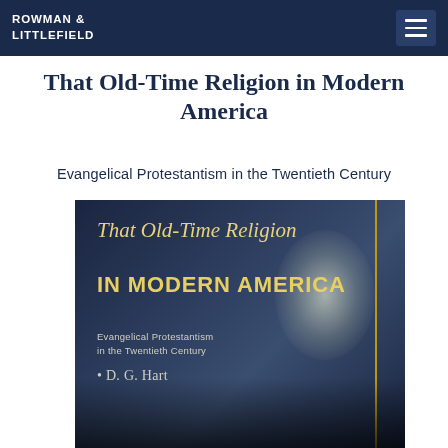ROWMAN & LITTLEFIELD
That Old-Time Religion in Modern America
Evangelical Protestantism in the Twentieth Century
[Figure (photo): Book cover of 'That Old-Time Religion in Modern America: Evangelical Protestantism in the Twentieth Century' by D. G. Hart. Dark blue/navy background with yellow/gold title text, white subtitle text, a bright spotlight glow, a vertical yellow line, and a silhouette of a person at the bottom.]